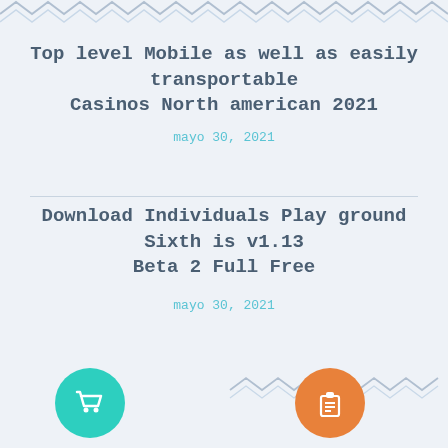[Figure (illustration): Zigzag/chevron decorative border at the top of the page in light blue/gray]
Top level Mobile as well as easily transportable Casinos North american 2021
mayo 30, 2021
Download Individuals Play ground Sixth is v1.13 Beta 2 Full Free
mayo 30, 2021
[Figure (illustration): Zigzag/chevron decorative border at the bottom with teal shopping cart icon and orange clipboard/list icon]